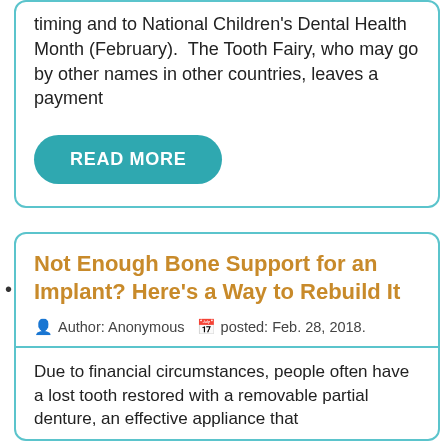timing and to National Children's Dental Health Month (February).  The Tooth Fairy, who may go by other names in other countries, leaves a payment
READ MORE
Not Enough Bone Support for an Implant? Here's a Way to Rebuild It
Author: Anonymous   posted: Feb. 28, 2018.
Due to financial circumstances, people often have a lost tooth restored with a removable partial denture, an effective appliance that